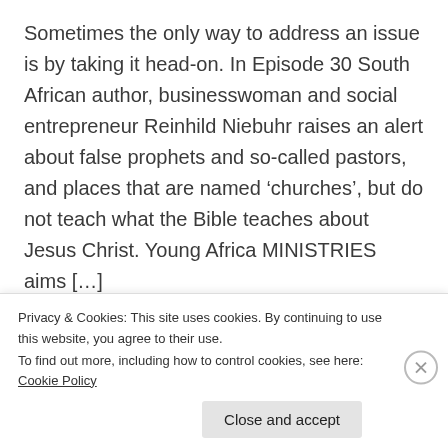Sometimes the only way to address an issue is by taking it head-on. In Episode 30 South African author, businesswoman and social entrepreneur Reinhild Niebuhr raises an alert about false prophets and so-called pastors, and places that are named ‘churches’, but do not teach what the Bible teaches about Jesus Christ. Young Africa MINISTRIES aims […]
reinhildn   July 31, 2021   Young Africa
Privacy & Cookies: This site uses cookies. By continuing to use this website, you agree to their use.
To find out more, including how to control cookies, see here: Cookie Policy
Close and accept